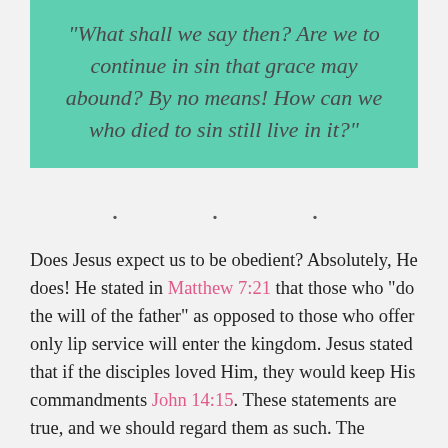"What shall we say then? Are we to continue in sin that grace may abound? By no means! How can we who died to sin still live in it?"
. . .
Does Jesus expect us to be obedient? Absolutely, He does! He stated in Matthew 7:21 that those who “do the will of the father” as opposed to those who offer only lip service will enter the kingdom. Jesus stated that if the disciples loved Him, they would keep His commandments John 14:15. These statements are true, and we should regard them as such. The problem comes